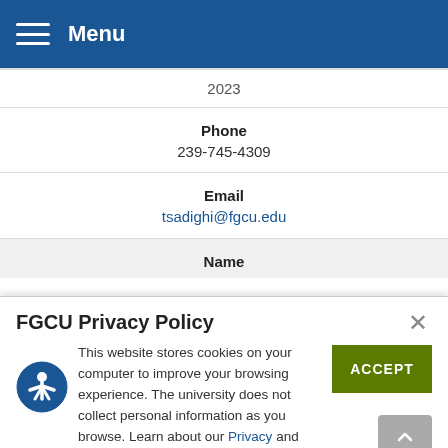Menu
| 2023 |
| Phone | 239-745-4309 |
| Email | tsadighi@fgcu.edu |
| Name | (truncated) |
FGCU Privacy Policy
This website stores cookies on your computer to improve your browsing experience. The university does not collect personal information as you browse. Learn about our Privacy and GDPR statements.